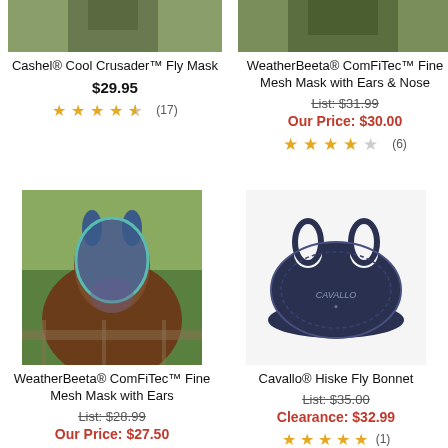[Figure (photo): Cashel Cool Crusader Fly Mask product photo, top cropped]
Cashel® Cool Crusader™ Fly Mask
$29.95
★★★★½ (17)
[Figure (photo): WeatherBeeta ComFiTec Fine Mesh Mask with Ears & Nose product photo, top cropped]
WeatherBeeta® ComFiTec™ Fine Mesh Mask with Ears & Nose
List: $31.99
Our Price: $30.00
★★★★☆ (6)
[Figure (photo): WeatherBeeta ComFiTec Fine Mesh Mask with Ears - horse wearing blue fly mask outdoors]
WeatherBeeta® ComFiTec™ Fine Mesh Mask with Ears
List: $28.99
Our Price: $27.50
[Figure (photo): Cavallo Hiske Fly Bonnet - navy blue ear bonnet product photo on white background]
Cavallo® Hiske Fly Bonnet
List: $35.00
Clearance: $32.99
★★★★★ (1)